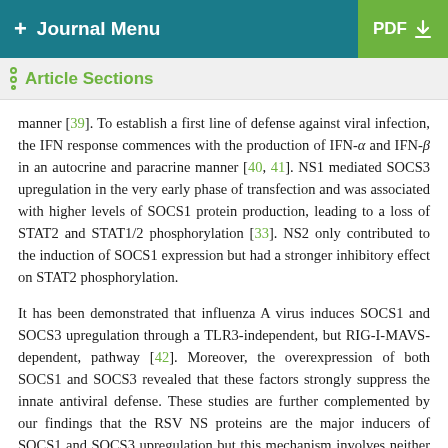+ Journal Menu | PDF
Article Sections
manner [39]. To establish a first line of defense against viral infection, the IFN response commences with the production of IFN-α and IFN-β in an autocrine and paracrine manner [40, 41]. NS1 mediated SOCS3 upregulation in the very early phase of transfection and was associated with higher levels of SOCS1 protein production, leading to a loss of STAT2 and STAT1/2 phosphorylation [33]. NS2 only contributed to the induction of SOCS1 expression but had a stronger inhibitory effect on STAT2 phosphorylation.
It has been demonstrated that influenza A virus induces SOCS1 and SOCS3 upregulation through a TLR3-independent, but RIG-I-MAVS-dependent, pathway [42]. Moreover, the overexpression of both SOCS1 and SOCS3 revealed that these factors strongly suppress the innate antiviral defense. These studies are further complemented by our findings that the RSV NS proteins are the major inducers of SOCS1 and SOCS3 upregulation but this mechanism involves neither a solely RIG-I-